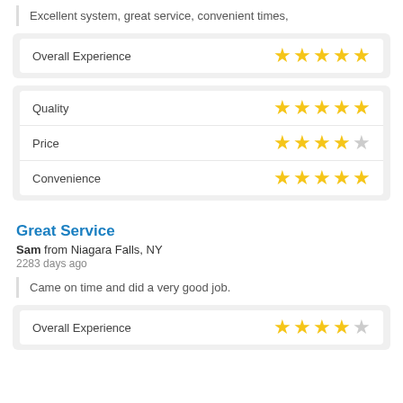Excellent system, great service, convenient times,
| Category | Stars |
| --- | --- |
| Overall Experience | 5 stars |
| Quality | 4.5 stars |
| Price | 4 stars |
| Convenience | 5 stars |
Great Service
Sam from Niagara Falls, NY
2283 days ago
Came on time and did a very good job.
| Category | Stars |
| --- | --- |
| Overall Experience | 4 stars |